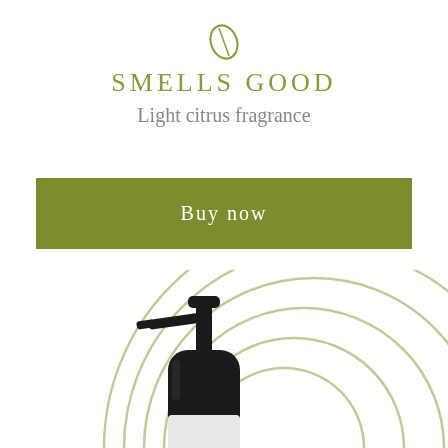[Figure (logo): Small leaf/citrus outline icon in olive green]
SMELLS GOOD
Light citrus fragrance
Buy now
[Figure (photo): Dark pump-top bottle (soap/lotion dispenser) with a white label, placed in front of concentric olive-green arc lines on white background]